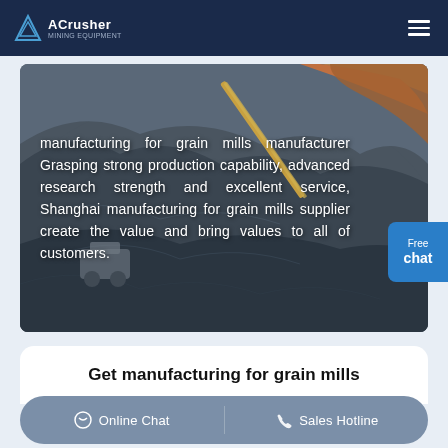ACrusher
[Figure (photo): Aerial view of a large open-pit mining or quarrying site with heavy machinery and grey rocky terrain, with orange rock visible at upper right.]
manufacturing for grain mills manufacturer Grasping strong production capability, advanced research strength and excellent service, Shanghai manufacturing for grain mills supplier create the value and bring values to all of customers.
Get manufacturing for grain mills
Online Chat  |  Sales Hotline